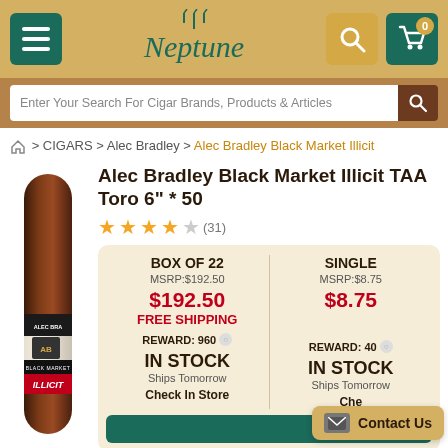[Figure (screenshot): Neptune Cigars website header with menu button, Neptune logo, search button, and cart button]
Enter Your Search For Cigar Brands, Products & Articles
🏠 > CIGARS > Alec Bradley > Alec Bradley Black Market Illicit
Alec Bradley Black Market Illicit TAA Toro 6" * 50
★★★★☆ (31)
| BOX OF 22 | SINGLE |
| --- | --- |
| MSRP:$192.50 | MSRP:$8.75 |
| $192.50
FREE SHIPPING | $8.75 |
| REWARD: 960 | REWARD: 40 |
| IN STOCK
Ships Tomorrow | IN STOCK
Ships Tomorrow |
| Check In Store | Che... |
Contact Us